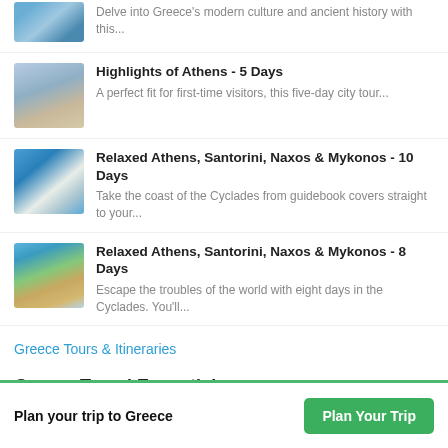Delve into Greece's modern culture and ancient history with this...
Highlights of Athens - 5 Days
A perfect fit for first-time visitors, this five-day city tour...
Relaxed Athens, Santorini, Naxos & Mykonos - 10 Days
Take the coast of the Cyclades from guidebook covers straight to your...
Relaxed Athens, Santorini, Naxos & Mykonos - 8 Days
Escape the troubles of the world with eight days in the Cyclades. You'll...
Greece Tours & Itineraries
Greece Travel Essentials
Best Time of Year to Visit Santorini
Plan your trip to Greece | Plan Your Trip